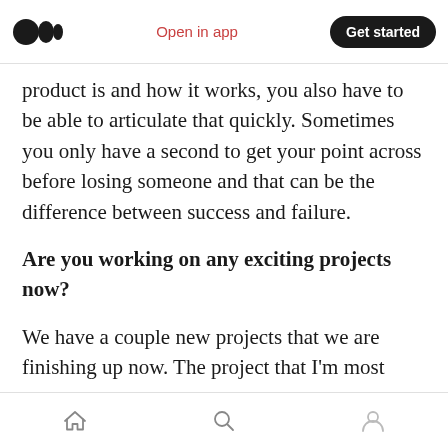Open in app | Get started
product is and how it works, you also have to be able to articulate that quickly. Sometimes you only have a second to get your point across before losing someone and that can be the difference between success and failure.
Are you working on any exciting projects now?
We have a couple new projects that we are finishing up now. The project that I'm most excited about is a text messaging function that allows patients to update their physicians regarding their treatment by simply responding
Home | Search | Profile